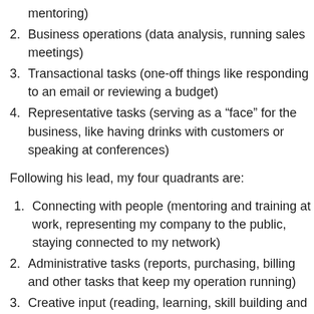mentoring)
2. Business operations (data analysis, running sales meetings)
3. Transactional tasks (one-off things like responding to an email or reviewing a budget)
4. Representative tasks (serving as a “face” for the business, like having drinks with customers or speaking at conferences)
Following his lead, my four quadrants are:
1. Connecting with people (mentoring and training at work, representing my company to the public, staying connected to my network)
2. Administrative tasks (reports, purchasing, billing and other tasks that keep my operation running)
3. Creative input (reading, learning, skill building and